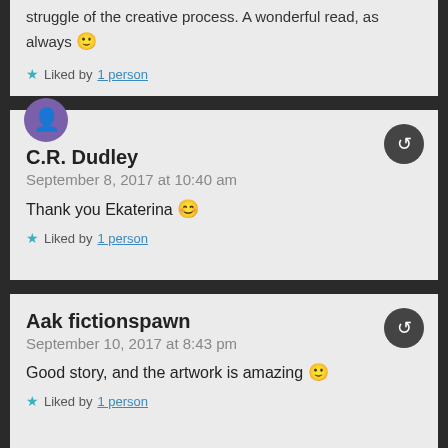struggle of the creative process. A wonderful read, as always 🙂
★ Liked by 1 person
C.R. Dudley
September 8, 2017 at 10:40 am
Thank you Ekaterina 😊
★ Liked by 1 person
Aak fictionspawn
September 10, 2017 at 8:43 pm
Good story, and the artwork is amazing 🙂
★ Liked by 1 person